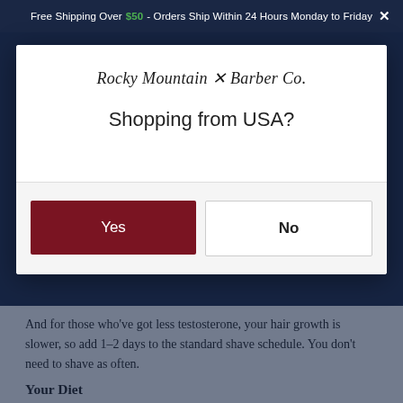Free Shipping Over $50 - Orders Ship Within 24 Hours Monday to Friday  ×
[Figure (screenshot): Rocky Mountain Barber Co. modal dialog asking 'Shopping from USA?' with Yes (dark red button) and No (white button) options]
And for those who've got less testosterone, your hair growth is slower, so add 1–2 days to the standard shave schedule. You don't need to shave as often.
Your Diet
Do you eat your fruits and veggies? Your diet also affects your hair growth, according to Healthline.